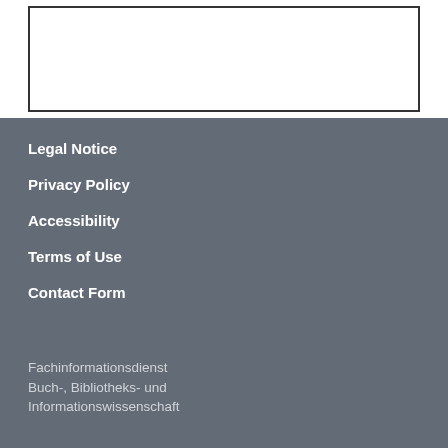[Figure (other): Rectangular image/content placeholder box with a black border on a white background]
Legal Notice
Privacy Policy
Accessibility
Terms of Use
Contact Form
Fachinformationsdienst Buch-, Bibliotheks- und Informationswissenschaft